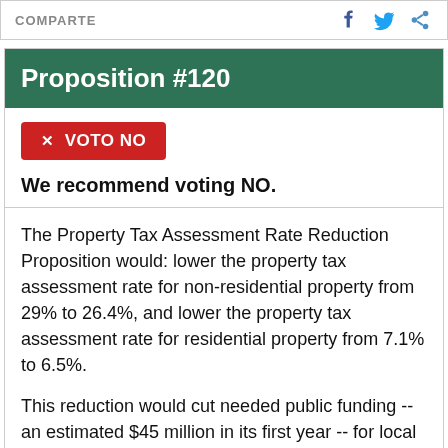COMPARTE
Proposition #120
✕ VOTO NO
We recommend voting NO.
The Property Tax Assessment Rate Reduction Proposition would: lower the property tax assessment rate for non-residential property from 29% to 26.4%, and lower the property tax assessment rate for residential property from 7.1% to 6.5%.
This reduction would cut needed public funding -- an estimated $45 million in its first year -- for local government services that all Coloradans rely on, such as schools, fire departments, and police departments. In sum, this proposition would have